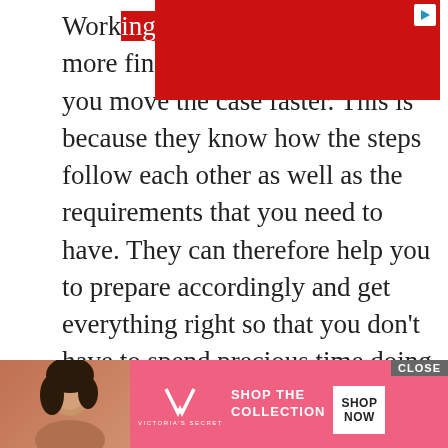[Figure (other): Red advertisement banner at top with play button icon in upper right corner]
Work[ing with a divorce lawyer] may take up more finances, but they will help you move the case faster. This is because they know how the steps follow each other as well as the requirements that you need to have. They can therefore help you to prepare accordingly and get everything right so that you don't have to spend precious time doing things twice or even more times to get them right. You can get a seasoned divorce lawyer if you focus your time and energy on looking for one since nearly 45% of first marriages in the United States end in a divorce. This means that asking friends and family and checking online will unearth more than a few good options.
They Know the Law and Ca[n] Su[pport You]
[Figure (other): Victoria's Secret advertisement banner at bottom with model photo, VS logo, SHOP THE COLLECTION text, and SHOP NOW button. CLOSE button in upper right.]